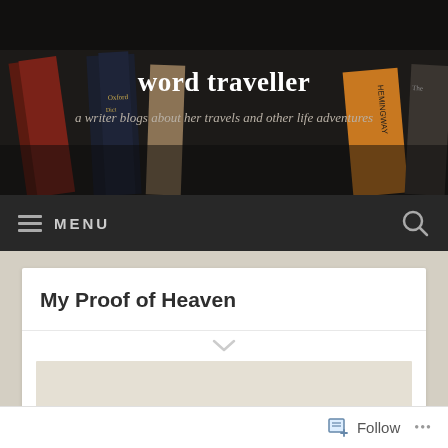word traveller
a writer blogs about her travels and other life adventures
[Figure (screenshot): Navigation bar with hamburger menu icon and MENU text on the left, and a search magnifying glass icon on the right, on a dark background]
My Proof of Heaven
[Figure (photo): Partial view of a cream/beige textured image placeholder at the bottom of the white card]
Follow ...